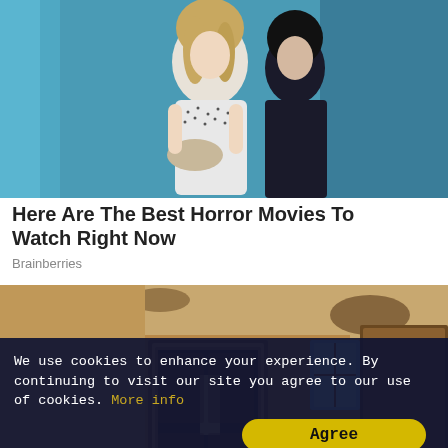[Figure (photo): Two people standing in front of a blue curtain backdrop, one in a white patterned dress holding a beige clutch, another in dark clothing]
Here Are The Best Horror Movies To Watch Right Now
Brainberries
[Figure (photo): Interior of an abandoned building filled with sand dunes, with wooden doors and windows showing blue sky outside]
We use cookies to enhance your experience. By continuing to visit our site you agree to our use of cookies. More info
Agree